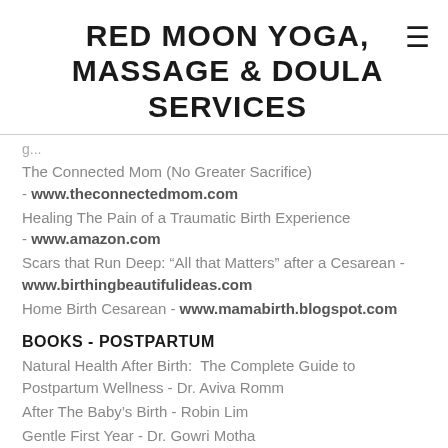RED MOON YOGA, MASSAGE & DOULA SERVICES
The Connected Mom (No Greater Sacrifice) - www.theconnectedmom.com
Healing The Pain of a Traumatic Birth Experience - www.amazon.com
Scars that Run Deep: “All that Matters” after a Cesarean - www.birthingbeautifulideas.com
Home Birth Cesarean - www.mamabirth.blogspot.com
BOOKS - POSTPARTUM
Natural Health After Birth:  The Complete Guide to Postpartum Wellness - Dr. Aviva Romm
After The Baby’s Birth - Robin Lim
Gentle First Year - Dr. Gowri Motha
The Baby Book - Dr. Sears